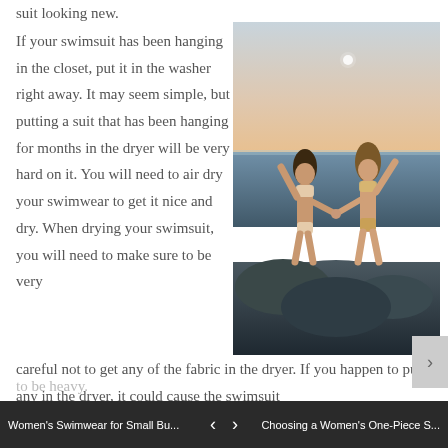suit looking new.
If your swimsuit has been hanging in the closet, put it in the washer right away. It may seem simple, but putting a suit that has been hanging for months in the dryer will be very hard on it. You will need to air dry your swimwear to get it nice and dry. When drying your swimsuit, you will need to make sure to be very careful not to get any of the fabric in the dryer. If you happen to put any in the dryer, it could cause the swimsuit to be heavy.
[Figure (photo): Two women in bikinis standing on rocks by the ocean at dusk, holding hands with arms raised]
Women's Swimwear for Small Bu...    <    >    Choosing a Women's One-Piece S...